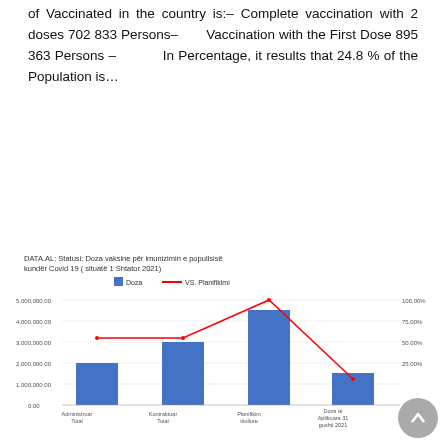of Vaccinated in the country is:– Complete vaccination with 2 doses 702 833 Persons– Vaccination with the First Dose 895 363 Persons – In Percentage, it results that 24.8 % of the Population is…
[Figure (bar-chart): DATA.AL: Statusi: Doza vaksine për imunizimin e popullsisëkundër Covid 19 ( situatë 1 Shtator 2021)]